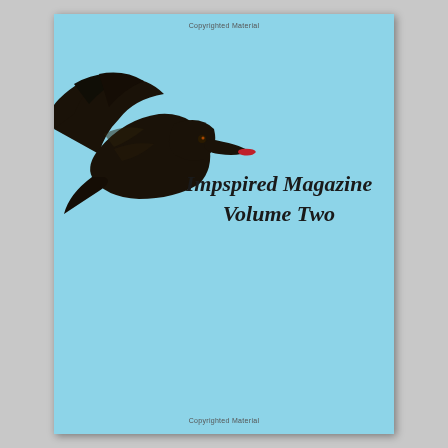Copyrighted Material
[Figure (photo): A dark black bird (crow or raven) in flight against a light blue sky background, shown in silhouette with wings spread and a red-tipped beak, viewed from the side flying left to right]
Impspired Magazine Volume Two
Copyrighted Material